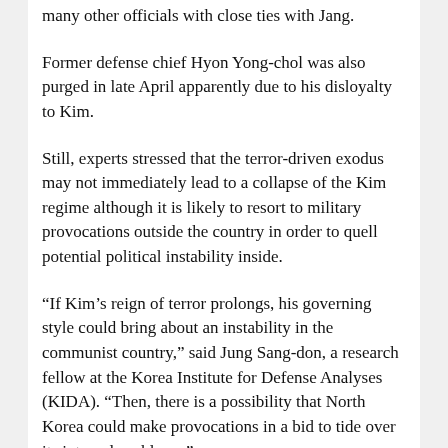many other officials with close ties with Jang.
Former defense chief Hyon Yong-chol was also purged in late April apparently due to his disloyalty to Kim.
Still, experts stressed that the terror-driven exodus may not immediately lead to a collapse of the Kim regime although it is likely to resort to military provocations outside the country in order to quell potential political instability inside.
“If Kim’s reign of terror prolongs, his governing style could bring about an instability in the communist country,” said Jung Sang-don, a research fellow at the Korea Institute for Defense Analyses (KIDA). “Then, there is a possibility that North Korea could make provocations in a bid to tide over its internal problems.”
Yang Moo-jin, a professor at the University of North Korean Studies, also dismissed the view that a series of defections by officials meant instability in Kim's regime, saying that there have been no signs of abnormal